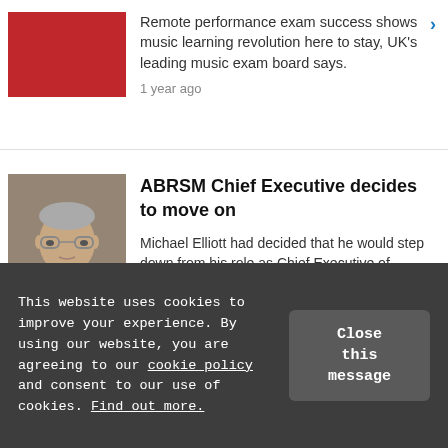Remote performance exam success shows music learning revolution here to stay, UK's leading music exam board says.
1 year ago
ABRSM Chief Executive decides to move on
Michael Elliott had decided that he would step down from his role as Chief Executive of ABRSM in 2021.
This website uses cookies to improve your experience. By using our website, you are agreeing to our cookie policy and consent to our use of cookies. Find out more.